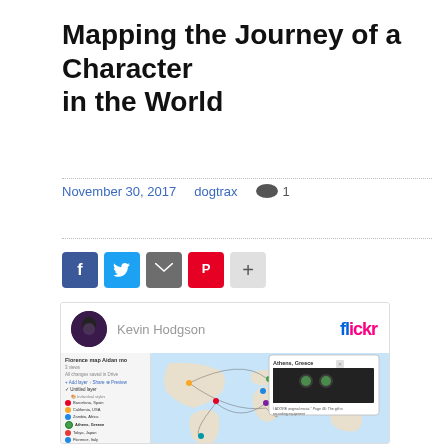Mapping the Journey of a Character in the World
November 30, 2017    dogtrax    💬 1
[Figure (screenshot): Social sharing bar with Facebook, Twitter, email, Pinterest, and plus buttons]
[Figure (screenshot): Flickr embed card showing Kevin Hodgson's map of character journey (Florence map Aidan mo) with locations including Athens Greece popup showing recording equipment photo, and a world map with arced lines connecting Barcelona Spain, California USA, Zambia Africa, Athens Greece, Tokyo Japan, Florence Italy, Costa Rica, Cairo Egypt, Paris France, Rio Brazil, Ontario Canada, Missouri USA]